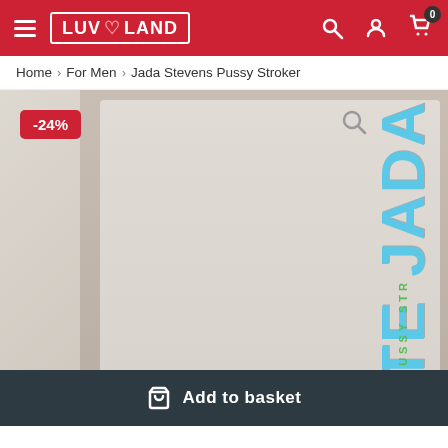LUV LAND
Home > For Men > Jada Stevens Pussy Stroker
[Figure (photo): Product page showing Jada Stevens Pussy Stroker with -24% discount badge. Photo shows a woman on the product packaging. Add to basket button at the bottom.]
Add to basket